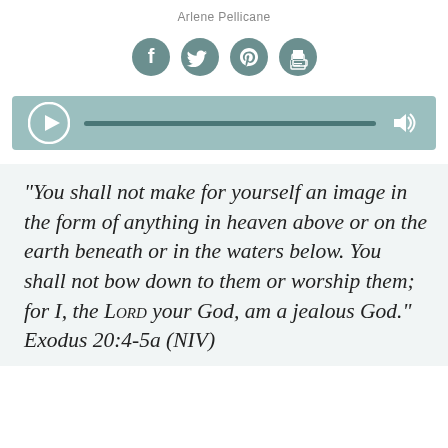Arlene Pellicane
[Figure (infographic): Four circular social sharing icons: Facebook, Twitter, Pinterest, and Print, in dark teal/grey circles]
[Figure (infographic): Audio player with play button, progress bar, and volume icon on teal background]
“You shall not make for yourself an image in the form of anything in heaven above or on the earth beneath or in the waters below. You shall not bow down to them or worship them; for I, the LORD your God, am a jealous God.” Exodus 20:4-5a (NIV)